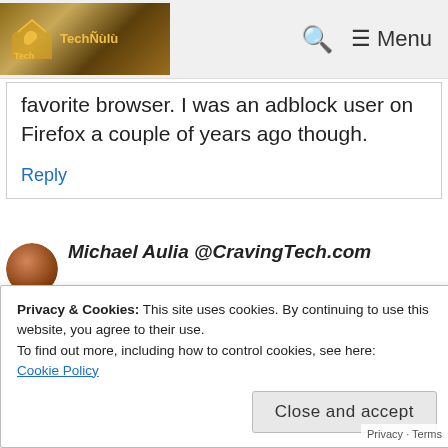Tech — Menu
favorite browser. I was an adblock user on Firefox a couple of years ago though.
Reply
Michael Aulia @CravingTech.com
Privacy & Cookies: This site uses cookies. By continuing to use this website, you agree to their use.
To find out more, including how to control cookies, see here:
Cookie Policy
Close and accept
but ever since I moved to Chrome, I haven't installed anything yet. Found
Privacy · Terms